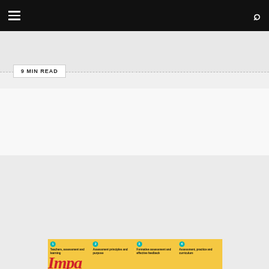Navigation bar with hamburger menu and search icon
9 MIN READ
Search..
LATEST ISSUE
[Figure (other): Magazine cover with yellow background showing 4 topic columns: 1. Teachers, assessment and learning; 2. Assessment principles and purpose; 3. Formative assessment and effective feedback; 4. Assessment, practice and curriculum. Large red italic text partially visible at bottom.]